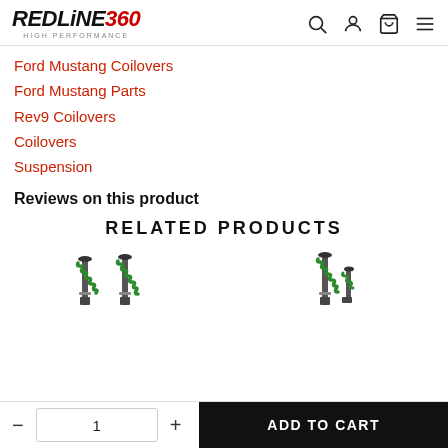REDLINE360 HIGH PERFORMANCE — navigation header with search, account, cart, menu icons
Ford Mustang Coilovers
Ford Mustang Parts
Rev9 Coilovers
Coilovers
Suspension
Reviews on this product
RELATED PRODUCTS
[Figure (photo): Two coilover suspension sets displayed side by side — green springs with black damper bodies]
- 1 + ADD TO CART